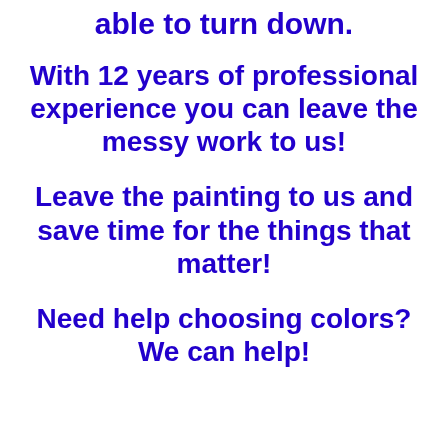able to turn down.
With 12 years of professional experience you can leave the messy work to us!
Leave the painting to us and save time for the things that matter!
Need help choosing colors? We can help!